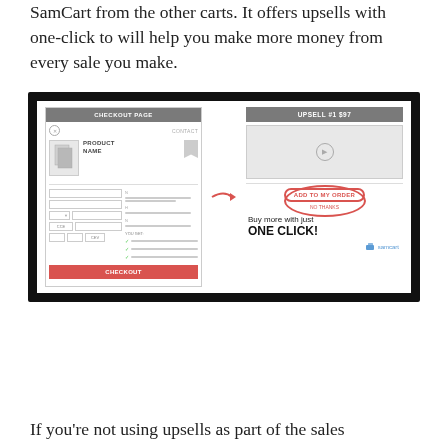SamCart from the other carts. It offers upsells with one-click to will help you make more money from every sale you make.
[Figure (screenshot): Screenshot of SamCart upsell flow showing a Checkout Page wireframe on the left with a red arrow pointing to an Upsell #1 $97 panel on the right. The upsell panel has a video placeholder, an 'ADD TO MY ORDER' button and 'NO THANKS' link circled in red, and text reading 'Buy more with just ONE CLICK!' with the SamCart logo.]
If you're not using upsells as part of the sales